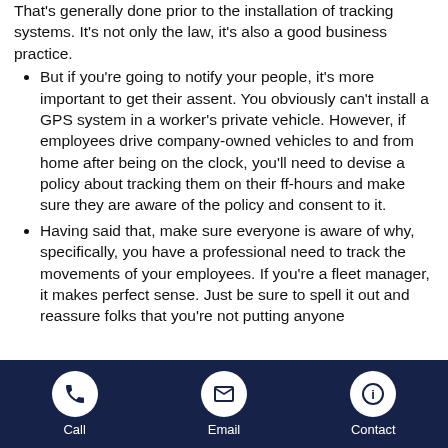That's generally done prior to the installation of tracking systems. It's not only the law, it's also a good business practice.
But if you're going to notify your people, it's more important to get their assent. You obviously can't install a GPS system in a worker's private vehicle. However, if employees drive company-owned vehicles to and from home after being on the clock, you'll need to devise a policy about tracking them on their ff-hours and make sure they are aware of the policy and consent to it.
Having said that, make sure everyone is aware of why, specifically, you have a professional need to track the movements of your employees. If you're a fleet manager, it makes perfect sense. Just be sure to spell it out and reassure folks that you're not putting anyone
Call  Email  Contact